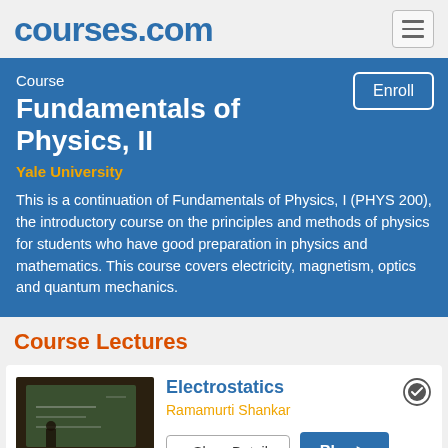courses.com
Course
Fundamentals of Physics, II
Yale University
This is a continuation of Fundamentals of Physics, I (PHYS 200), the introductory course on the principles and methods of physics for students who have good preparation in physics and mathematics. This course covers electricity, magnetism, optics and quantum mechanics.
Course Lectures
[Figure (photo): Thumbnail of a lecture video showing a professor at a chalkboard]
Electrostatics
Ramamurti Shankar